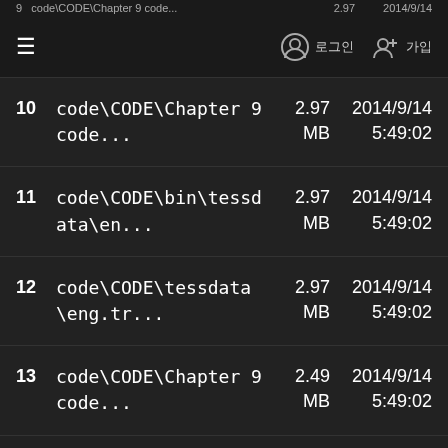≡  [icon: user] 로그인  [icon: add-user] 가입
| # | Name | Size | Date |
| --- | --- | --- | --- |
| 10 | code\CODE\Chapter 9 code... | 2.97 MB | 2014/9/14 5:49:02 |
| 11 | code\CODE\bin\tessdata\en... | 2.97 MB | 2014/9/14 5:49:02 |
| 12 | code\CODE\tessdata\eng.tr... | 2.97 MB | 2014/9/14 5:49:02 |
| 13 | code\CODE\Chapter 9 code... | 2.49 MB | 2014/9/14 5:49:02 |
| 14 | code\CODE\Chapter 9 code... | 2.49 MB | 2014/9/14 5:49:02 |
| 15 | code\CODE\bin\tessdata\en... | 2.49 | 2014/9/14 |